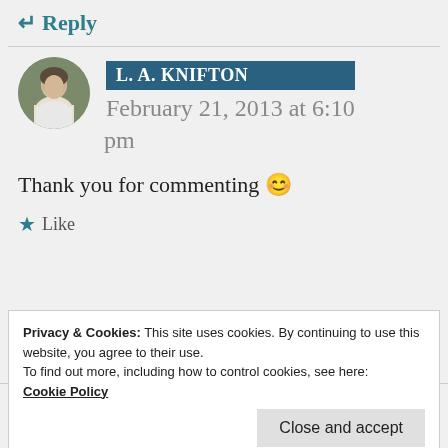↵ Reply
L. A. KNIFTON
February 21, 2013 at 6:10 pm
Thank you for commenting 😀
★ Like
Privacy & Cookies: This site uses cookies. By continuing to use this website, you agree to their use.
To find out more, including how to control cookies, see here:
Cookie Policy
Close and accept
February 20, 2013 at 5:41